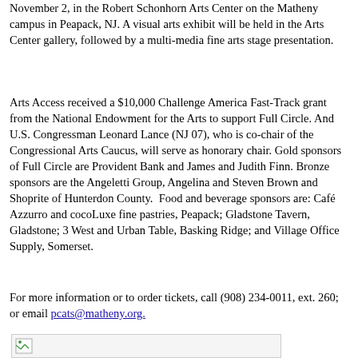November 2, in the Robert Schonhorn Arts Center on the Matheny campus in Peapack, NJ. A visual arts exhibit will be held in the Arts Center gallery, followed by a multi-media fine arts stage presentation.
Arts Access received a $10,000 Challenge America Fast-Track grant from the National Endowment for the Arts to support Full Circle. And U.S. Congressman Leonard Lance (NJ 07), who is co-chair of the Congressional Arts Caucus, will serve as honorary chair. Gold sponsors of Full Circle are Provident Bank and James and Judith Finn. Bronze sponsors are the Angeletti Group, Angelina and Steven Brown and Shoprite of Hunterdon County. Food and beverage sponsors are: Café Azzurro and cocoLuxe fine pastries, Peapack; Gladstone Tavern, Gladstone; 3 West and Urban Table, Basking Ridge; and Village Office Supply, Somerset.
For more information or to order tickets, call (908) 234-0011, ext. 260; or email pcats@matheny.org.
[Figure (other): Partial image with broken image icon at bottom of page]